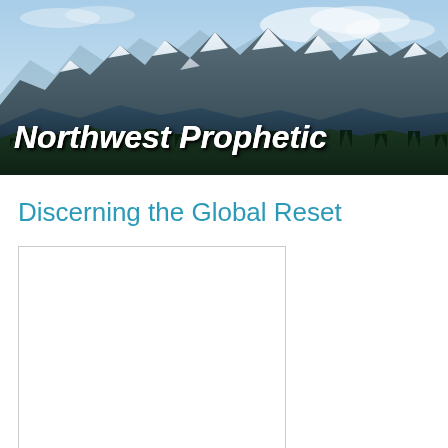[Figure (photo): Mountain landscape banner with snow-capped peaks, forested lower slopes, and a partly cloudy blue sky. White bold italic text reads 'Northwest Prophetic' in the lower left of the image.]
Discerning the Global Reset
[Figure (other): White rectangular content area with a light border, partially visible at the bottom of the page.]